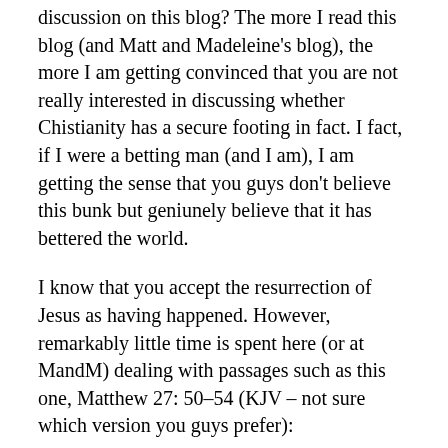discussion on this blog? The more I read this blog (and Matt and Madeleine's blog), the more I am getting convinced that you are not really interested in discussing whether Chistianity has a secure footing in fact. I fact, if I were a betting man (and I am), I am getting the sense that you guys don't believe this bunk but geniunely believe that it has bettered the world.
I know that you accept the resurrection of Jesus as having happened. However, remarkably little time is spent here (or at MandM) dealing with passages such as this one, Matthew 27: 50–54 (KJV – not sure which version you guys prefer):
Jesus, when he had cried again with a loud voice, yielded up the ghost.
And, behold, the veil of the temple was rent in twain